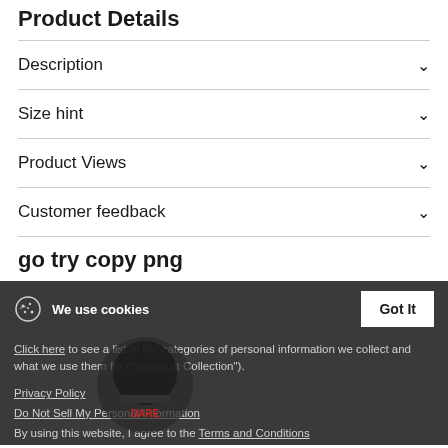Product Details
Description
Size hint
Product Views
Customer feedback
go try copy png
We use cookies
Click here to see a list of the categories of personal information we collect and what we use them for ("Notice at Collection").
Privacy Policy
Do Not Sell My Personal Information
By using this website, I agree to the Terms and Conditions